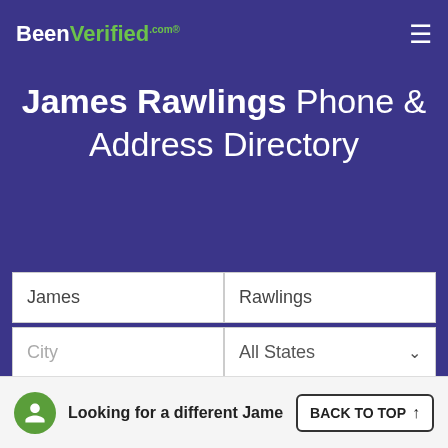BeenVerified.com
James Rawlings Phone & Address Directory
James | Rawlings
City | All States
SEARCH
Looking for a different Jame...
BACK TO TOP ↑